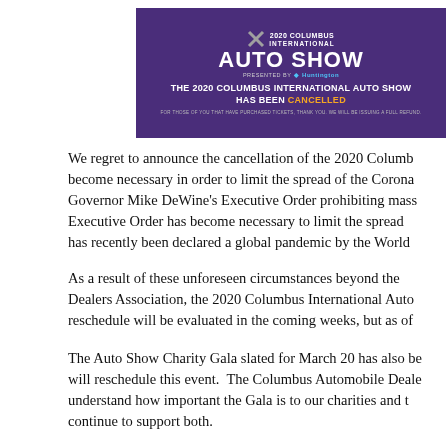[Figure (illustration): 2020 Columbus International Auto Show banner on purple background with text 'THE 2020 COLUMBUS INTERNATIONAL AUTO SHOW HAS BEEN CANCELLED' in white and yellow/orange, with Huntington sponsorship logo and small refund notice at bottom.]
We regret to announce the cancellation of the 2020 Columbus International Auto Show. This has become necessary in order to limit the spread of the Coronavirus (COVID-19). In response to Governor Mike DeWine's Executive Order prohibiting mass gatherings, compliance with the Executive Order has become necessary to limit the spread of this coronavirus disease (COVID-19) which has recently been declared a global pandemic by the World Health Organization.
As a result of these unforeseen circumstances beyond the control of the Columbus Automobile Dealers Association, the 2020 Columbus International Auto Show has been cancelled. The possibility of a reschedule will be evaluated in the coming weeks, but as of now no dates have been confirmed.
The Auto Show Charity Gala slated for March 20 has also been cancelled. We do intend to reschedule and will reschedule this event. The Columbus Automobile Dealers Association and our Board of Directors understand how important the Gala is to our charities and the Columbus community, and we will continue to support both.